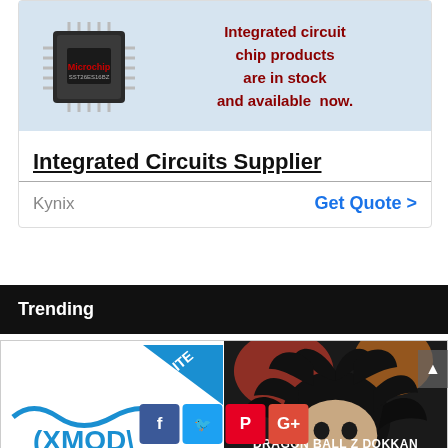[Figure (infographic): Advertisement for Kynix integrated circuit chip products showing a Microchip technology IC chip image on light blue background with red text stating 'Integrated circuit chip products are in stock and available now.']
Integrated Circuits Supplier
Kynix   Get Quote >
Trending
[Figure (logo): XMOD Lite logo in blue with wave design]
[Figure (photo): Dragon Ball Z Dokkan Battle game screenshot showing character with spiky black hair]
[Figure (infographic): Social media sharing buttons: Facebook (f), Twitter (bird), Pinterest (P), Google+ (G+)]